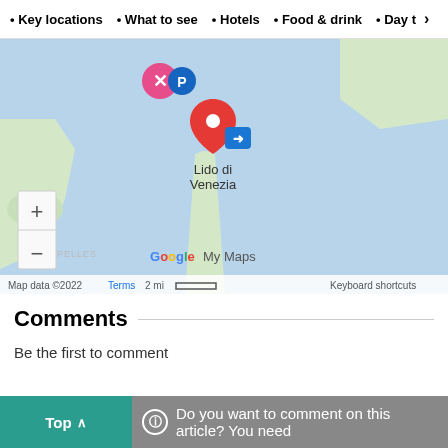• Key locations • What to see • Hotels • Food & drink • Day t >
[Figure (map): Google My Maps showing Lido di Venezia area with map markers, zoom controls, and attribution. Map data ©2022, Terms, 2 mi scale bar, Keyboard shortcuts.]
Comments
Be the first to comment
Top ^ Do you want to comment on this article? You need